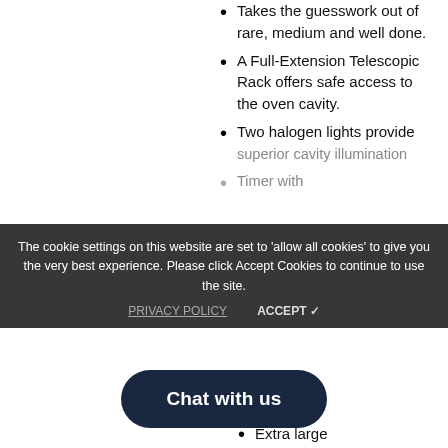Takes the guesswork out of rare, medium and well done.
A Full-Extension Telescopic Rack offers safe access to the oven cavity.
Two halogen lights provide superior cavity illumination
Timer with
Extra large
The cookie settings on this website are set to 'allow all cookies' to give you the very best experience. Please click Accept Cookies to continue to use the site.
Chat with us